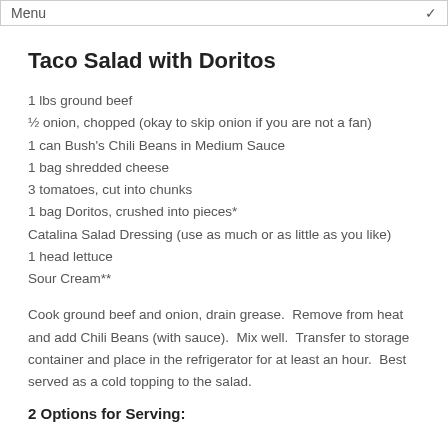Menu
Taco Salad with Doritos
1 lbs ground beef
½ onion, chopped (okay to skip onion if you are not a fan)
1 can Bush's Chili Beans in Medium Sauce
1 bag shredded cheese
3 tomatoes, cut into chunks
1 bag Doritos, crushed into pieces*
Catalina Salad Dressing (use as much or as little as you like)
1 head lettuce
Sour Cream**
Cook ground beef and onion, drain grease.  Remove from heat and add Chili Beans (with sauce).  Mix well.  Transfer to storage container and place in the refrigerator for at least an hour.  Best served as a cold topping to the salad.
2 Options for Serving: